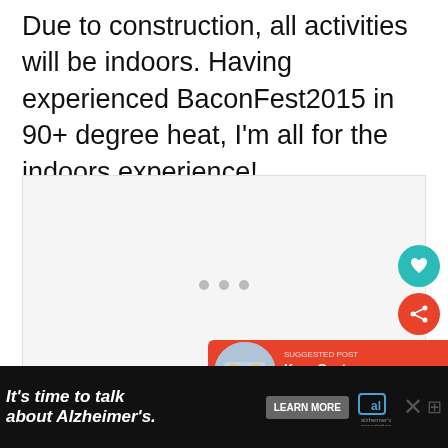Due to construction, all activities will be indoors. Having experienced BaconFest2015 in 90+ degree heat, I'm all for the indoors experience!
[Figure (other): Embedded media placeholder box with loading dots]
[Figure (other): UI: Teal heart/save button and red share button overlaid on the right side]
[Figure (other): Notification bar showing Kroc Center Pool... with red background and thumbnail image]
[Figure (other): Advertisement banner: It's time to talk about Alzheimer's. with Learn More button and Alzheimer's Association logo on black background]